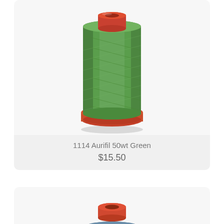[Figure (photo): Green thread spool (Aurifil 50wt Green) with red plastic top and bottom, wound with green thread, on light gray card background]
1114 Aurifil 50wt Green
$15.50
[Figure (photo): Steel blue/denim thread spool (Aurifil) with orange/red plastic top, wound with blue-gray thread, on light gray card background, partially visible]